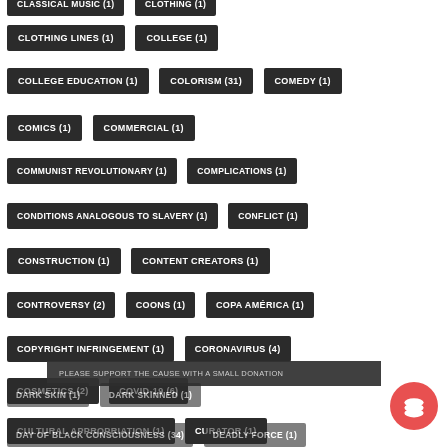CLASSICAL MUSIC (1)
CLOTHING (1)
CLOTHING LINES (1)
COLLEGE (1)
COLLEGE EDUCATION (1)
COLORISM (31)
COMEDY (1)
COMICS (1)
COMMERCIAL (1)
COMMUNIST REVOLUTIONARY (1)
COMPLICATIONS (1)
CONDITIONS ANALOGOUS TO SLAVERY (1)
CONFLICT (1)
CONSTRUCTION (1)
CONTENT CREATORS (1)
CONTROVERSY (2)
COONS (1)
COPA AMÉRICA (1)
COPYRIGHT INFRINGEMENT (1)
CORONAVIRUS (4)
COSMETICS (2)
COVID-19 (6)
CULTURAL APPROPRIATION (1)
CURATOR (1)
DARK SKIN (1)
DARK SKINNED (1)
DAY OF BLACK CONSCIOUSNESS (34)
DEADLY FORCE (1)
PLEASE SUPPORT THE CAUSE WITH A SMALL DONATION